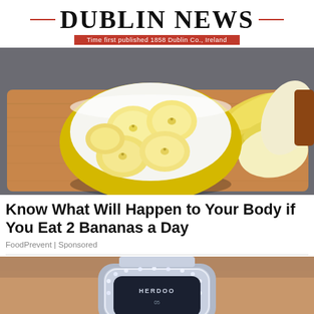DUBLIN NEWS — Time first published 1858 Dublin Co., Ireland
[Figure (photo): A yellow bowl filled with sliced bananas on a wooden cutting board, with banana peels to the side]
Know What Will Happen to Your Body if You Eat 2 Bananas a Day
FoodPrevent | Sponsored
[Figure (photo): Close-up of a diamond-encrusted luxury watch on a person's wrist]